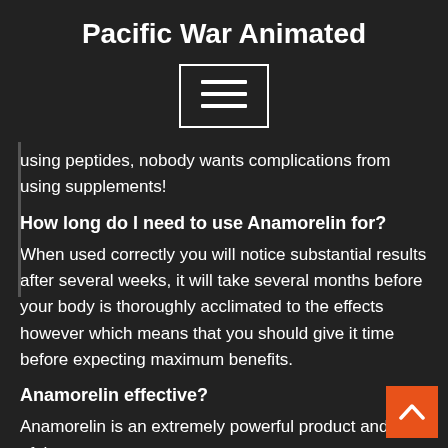Pacific War Animated
[Figure (other): Hamburger menu icon button — three horizontal white lines inside a white-bordered rectangle]
using peptides, nobody wants complications from using supplements!
How long do I need to use Anamorelin for?
When used correctly you will notice substantial results after several weeks, it will take several months before your body is thoroughly acclimated to the effects however which means that you should give it time before expecting maximum benefits.
Anamorelin effective?
Anamorelin is an extremely powerful product and one of the